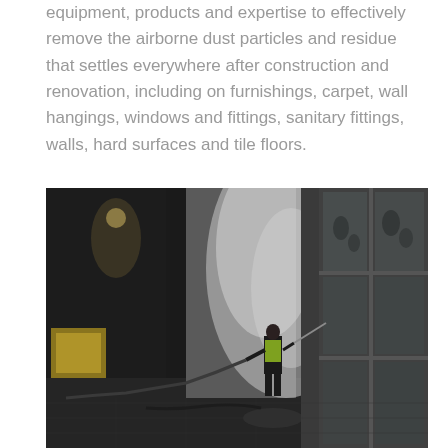equipment, products and expertise to effectively remove the airborne dust particles and residue that settles everywhere after construction and renovation, including on furnishings, carpet, wall hangings, windows and fittings, sanitary fittings, walls, hard surfaces and tile floors.
[Figure (photo): A worker in a high-visibility vest using a pressure washer or hose to clean a building exterior or facade, surrounded by mist and steam. Large glass windows are visible on the right side. The ground is wet and reflective. The scene appears to be taken in low light or at dusk.]